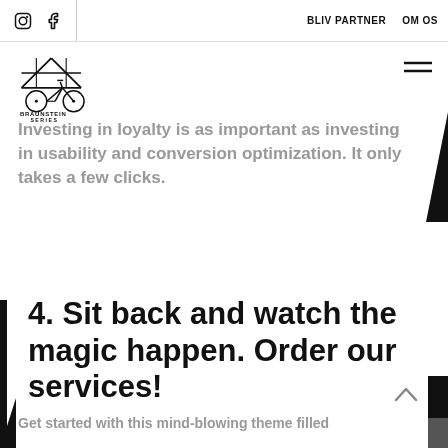BLIV PARTNER  OM OS
[Figure (logo): Braunstein Series bicycle logo with text BRAUNSTEIN SERIES]
Investing in loyalty is as important as investing in usability and conversion optimization. It only takes a few clicks.
4. Sit back and watch the magic happen. Order our services!
Get started with this mind-blowing theme filled